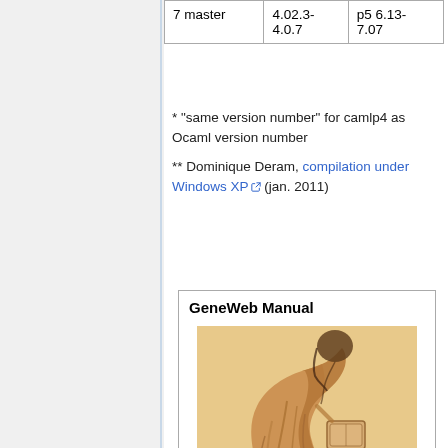| 7 master | 4.02.3-4.0.7 | p5 6.13-7.07 |
* “same version number” for camlp4 as Ocaml version number
** Dominique Deram, compilation under Windows XP (jan. 2011)
GeneWeb Manual
[Figure (illustration): A sketch/drawing of a robed figure seated, viewed from behind, rendered in warm brown and orange tones on a tan background. The figure appears to be an elderly person in classical robes.]